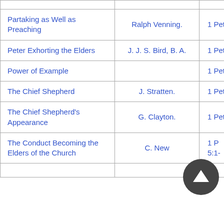| Partaking as Well as Preaching | Ralph Venning. | 1 Peter 5:1-4 |
| Peter Exhorting the Elders | J. J. S. Bird, B. A. | 1 Peter 5:1-4 |
| Power of Example |  | 1 Peter 5:1-4 |
| The Chief Shepherd | J. Stratten. | 1 Peter 5:1-4 |
| The Chief Shepherd's Appearance | G. Clayton. | 1 Peter 5:1-4 |
| The Conduct Becoming the Elders of the Church | C. New | 1 Peter 5:1-4 |